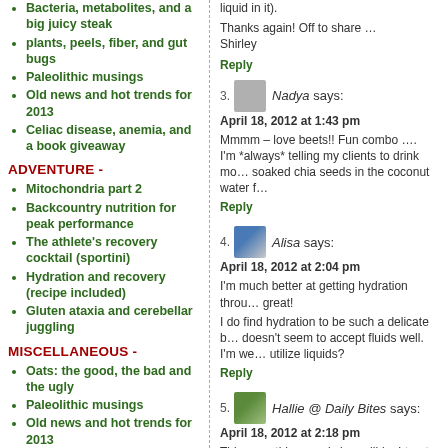Bacteria, metabolites, and a big juicy steak
plants, peels, fiber, and gut bugs
Paleolithic musings
Old news and hot trends for 2013
Celiac disease, anemia, and a book giveaway
ADVENTURE -
Mitochondria part 2
Backcountry nutrition for peak performance
The athlete's recovery cocktail (sportini)
Hydration and recovery (recipe included)
Gluten ataxia and cerebellar juggling
MISCELLANEOUS -
Oats: the good, the bad and the ugly
Paleolithic musings
Old news and hot trends for 2013
gluten-free pumpkin pie coffee cake
Take the inner space test (dare you)
ARCHIVE -
liquid in it).
Thanks again! Off to share …
Shirley
Reply
3. Nadya says:
April 18, 2012 at 1:43 pm
Mmmm – love beets!! Fun combo …. I'm *always* telling my clients to drink mo… soaked chia seeds in the coconut water f…
Reply
4. Alisa says:
April 18, 2012 at 2:04 pm
I'm much better at getting hydration throu… great!
I do find hydration to be such a delicate b… doesn't seem to accept fluids well. I'm we… utilize liquids?
Reply
5. Hallie @ Daily Bites says:
April 18, 2012 at 2:18 pm
This smoothie sounds incredible. I treat m… out of young organic coconuts…but it's s… coconut water that you buy already pack…
Reply